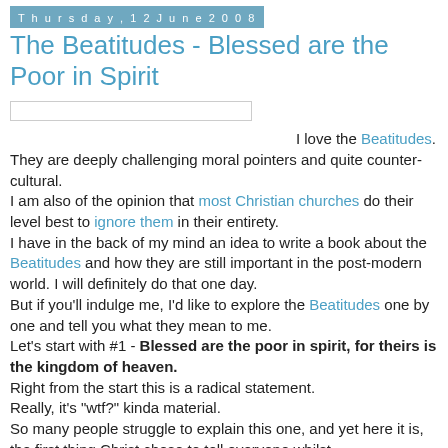Thursday, 12 June 2008
The Beatitudes - Blessed are the Poor in Spirit
I love the Beatitudes. They are deeply challenging moral pointers and quite counter-cultural. I am also of the opinion that most Christian churches do their level best to ignore them in their entirety. I have in the back of my mind an idea to write a book about the Beatitudes and how they are still important in the post-modern world. I will definitely do that one day. But if you'll indulge me, I'd like to explore the Beatitudes one by one and tell you what they mean to me. Let's start with #1 - Blessed are the poor in spirit, for theirs is the kingdom of heaven. Right from the start this is a radical statement. Really, it's "wtf?" kinda material. So many people struggle to explain this one, and yet here it is, the first thing Christ chose to tell everyone whilst